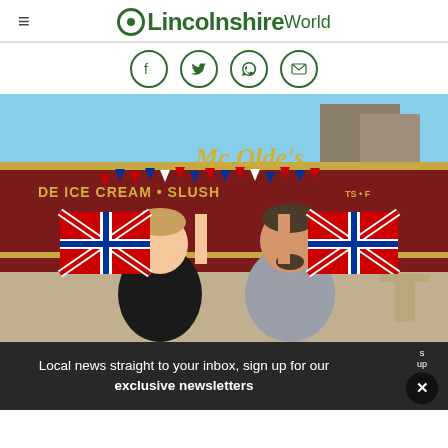≡ OLincolnshireWorld
[Figure (other): Social sharing icons: Facebook, Twitter, WhatsApp, Email — all in dark green circle outlines]
[Figure (photo): Two staff members of Mc Olde's ice cream shop standing in front of the shop holding Union Jack flags. The shop sign reads 'DE ICE CREAM • SLUSH' and 'Mc Olde's'. The storefront is decorated with Union Jack bunting.]
Local news straight to your inbox, sign up for our exclusive newsletters